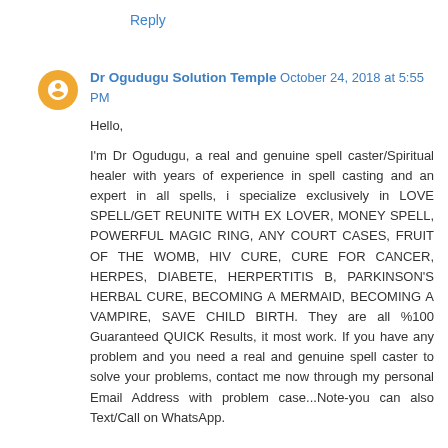Reply
Dr Ogudugu Solution Temple  October 24, 2018 at 5:55 PM
Hello,

I'm Dr Ogudugu, a real and genuine spell caster/Spiritual healer with years of experience in spell casting and an expert in all spells, i specialize exclusively in LOVE SPELL/GET REUNITE WITH EX LOVER, MONEY SPELL, POWERFUL MAGIC RING, ANY COURT CASES, FRUIT OF THE WOMB, HIV CURE, CURE FOR CANCER, HERPES, DIABETE, HERPERTITIS B, PARKINSON'S HERBAL CURE, BECOMING A MERMAID, BECOMING A VAMPIRE, SAVE CHILD BIRTH. They are all %100 Guaranteed QUICK Results, it most work. If you have any problem and you need a real and genuine spell caster to solve your problems, contact me now through my personal Email Address with problem case...Note-you can also Text/Call on WhatsApp.